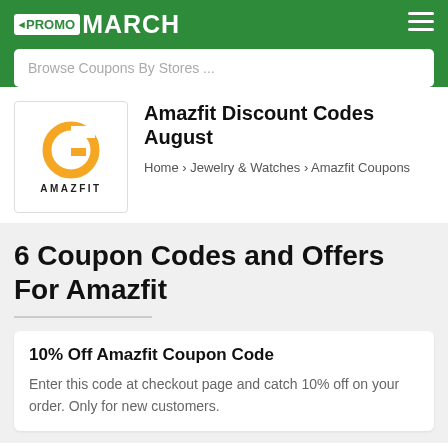PROMO MARCH
Browse Coupons By Stores ...
[Figure (logo): Amazfit logo: gold circular G icon above the text AMAZFIT in a white bordered box]
Amazfit Discount Codes August
Home › Jewelry & Watches › Amazfit Coupons
6 Coupon Codes and Offers For Amazfit
10% Off Amazfit Coupon Code
Enter this code at checkout page and catch 10% off on your order. Only for new customers.